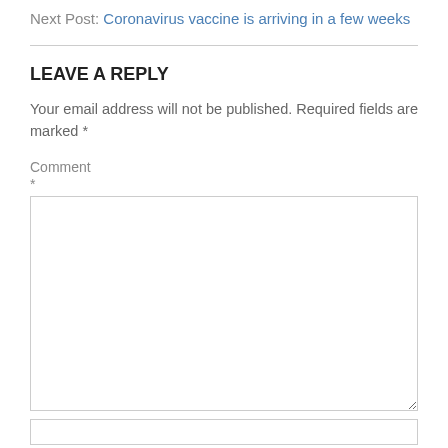Next Post: Coronavirus vaccine is arriving in a few weeks
LEAVE A REPLY
Your email address will not be published. Required fields are marked *
Comment
*
[Figure (screenshot): Empty comment text area input box]